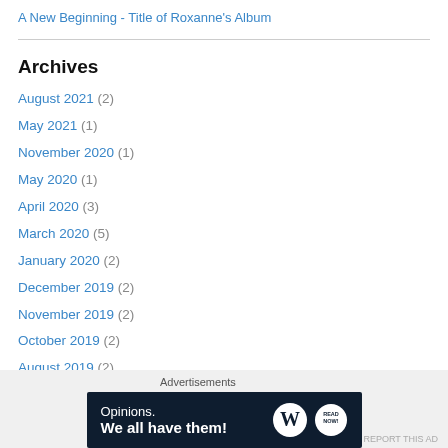A New Beginning - Title of Roxanne's Album
Archives
August 2021 (2)
May 2021 (1)
November 2020 (1)
May 2020 (1)
April 2020 (3)
March 2020 (5)
January 2020 (2)
December 2019 (2)
November 2019 (2)
October 2019 (2)
August 2019 (2)
[Figure (screenshot): Advertisement banner: Opinions. We all have them! with WordPress logo and another circular logo on dark navy background.]